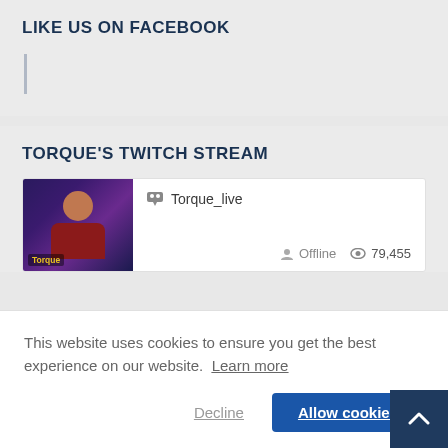LIKE US ON FACEBOOK
TORQUE'S TWITCH STREAM
[Figure (screenshot): Twitch profile card showing Torque_live with Offline status and 79,455 views]
This website uses cookies to ensure you get the best experience on our website. Learn more
Decline
Allow cookies